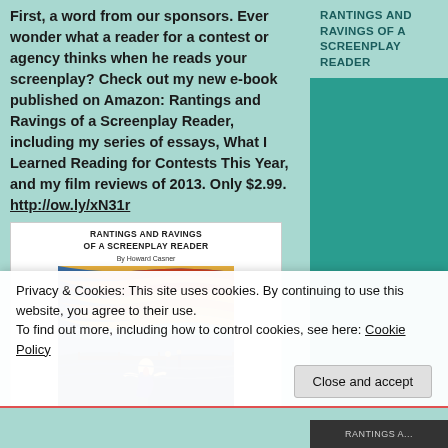First, a word from our sponsors. Ever wonder what a reader for a contest or agency thinks when he reads your screenplay? Check out my new e-book published on Amazon: Rantings and Ravings of a Screenplay Reader, including my series of essays, What I Learned Reading for Contests This Year, and my film reviews of 2013. Only $2.99. http://ow.ly/xN31r
[Figure (illustration): Book cover for 'Rantings and Ravings of a Screenplay Reader' by Howard Casner, featuring a reproduction of Edvard Munch's 'The Scream' painting.]
RANTINGS AND RAVINGS OF A SCREENPLAY READER
Privacy & Cookies: This site uses cookies. By continuing to use this website, you agree to their use. To find out more, including how to control cookies, see here: Cookie Policy